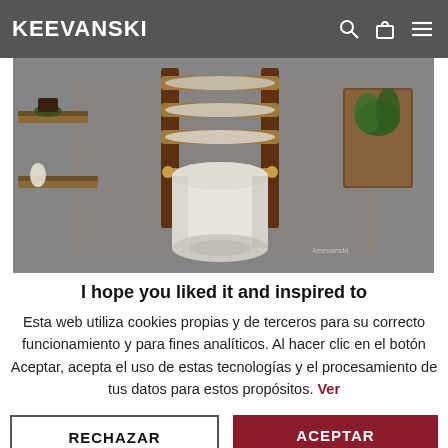KEEVANSKI
[Figure (photo): A wooden paper towel holder and roll dispenser mounted on a gray wall, with wooden shelves holding plants and decorative items in the background.]
I hope you liked it and inspired to
Esta web utiliza cookies propias y de terceros para su correcto funcionamiento y para fines analíticos. Al hacer clic en el botón Aceptar, acepta el uso de estas tecnologías y el procesamiento de tus datos para estos propósitos. Ver